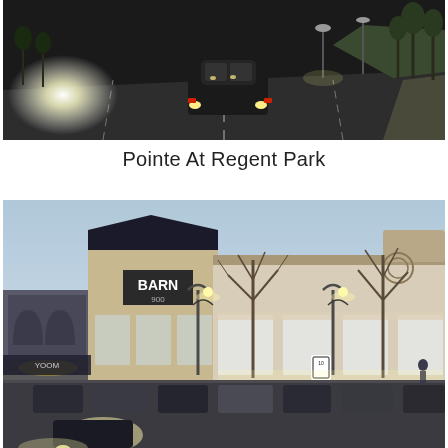[Figure (photo): Nighttime road scene with a car driving on a multi-lane road, headlights visible, trees and landscaping on the right side]
Pointe At Regent Park
[Figure (photo): Dusk scene of a shopping center with retail storefronts including BARN store, street lights, bare trees, parked cars, and a 'NO PHOTO AVAILABLE' watermark overlay]